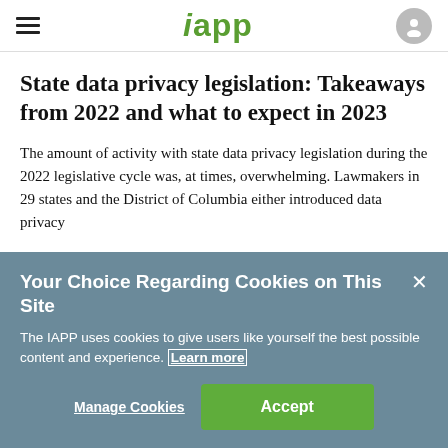iapp
State data privacy legislation: Takeaways from 2022 and what to expect in 2023
The amount of activity with state data privacy legislation during the 2022 legislative cycle was, at times, overwhelming. Lawmakers in 29 states and the District of Columbia either introduced data privacy
Your Choice Regarding Cookies on This Site
The IAPP uses cookies to give users like yourself the best possible content and experience. Learn more
Manage Cookies | Accept